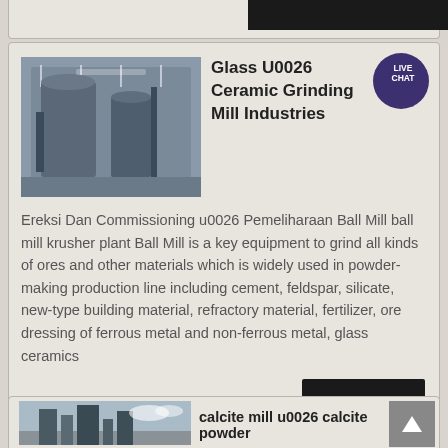[Figure (photo): Industrial grinding mill machinery in a factory setting]
Glass U0026 Ceramic Grinding Mill Industries
Ereksi Dan Commissioning u0026 Pemeliharaan Ball Mill ball mill krusher plant Ball Mill is a key equipment to grind all kinds of ores and other materials which is widely used in powder-making production line including cement, feldspar, silicate, new-type building material, refractory material, fertilizer, ore dressing of ferrous metal and non-ferrous metal, glass ceramics
[Figure (photo): Calcite mill industrial equipment outdoors]
calcite mill u0026 calcite powder